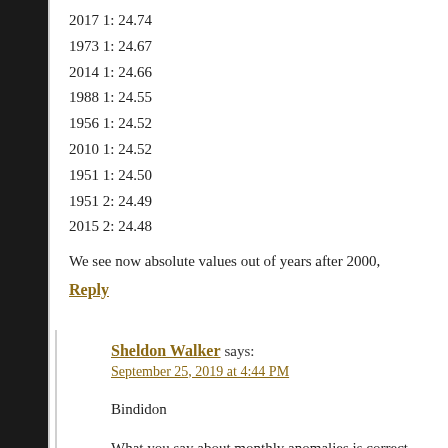2017 1: 24.74
1973 1: 24.67
2014 1: 24.66
1988 1: 24.55
1956 1: 24.52
2010 1: 24.52
1951 1: 24.50
1951 2: 24.49
2015 2: 24.48
We see now absolute values out of years after 2000,
Reply
Sheldon Walker says:
September 25, 2019 at 4:44 PM
Bindidon
What you say about monthly anomalies is correct